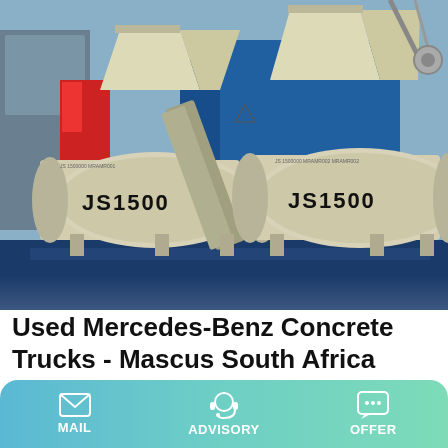[Figure (photo): Two JS1500 concrete mixer machines (cream/beige colored) with large cylindrical drums, mounted on frames, photographed outdoors with blue panels and red structure visible in background.]
Used Mercedes-Benz Concrete Trucks - Mascus South Africa
You can browse ads of used Mercedes-Benz concrete trucks for sale all across Africa. Ads appear in order of date, place, ie newest on top. You are able to sort them by brand, year, price,
MAIL   ADVISORY   OFFER